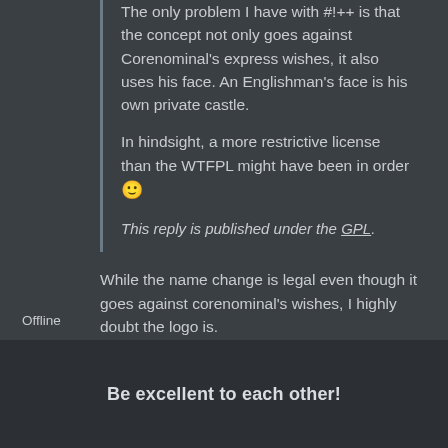The only problem I have with #!++ is that the concept not only goes against Corenominal's express wishes, it also uses his face. An Englishman's face is his own private castle.
In hindsight, a more restrictive license than the WTFPL might have been in order 🙂
This reply is published under the GPL.
While the name change is legal even though it goes against corenominal's wishes, I highly doubt the logo is.
Offline
Be excellent to each other!